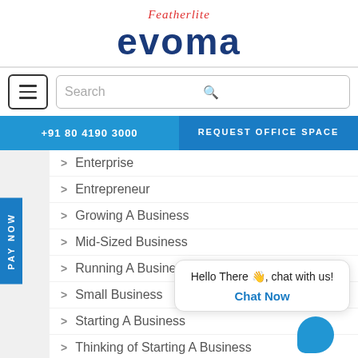[Figure (logo): Featherlite Evoma logo with red italic 'Featherlite' text above large blue 'evoma' wordmark]
[Figure (screenshot): Navigation bar with hamburger menu button and search box]
+91 80 4190 3000
REQUEST OFFICE SPACE
Enterprise
Entrepreneur
Growing A Business
Mid-Sized Business
Running A Business
Small Business
Starting A Business
Thinking of Starting A Business
Business Center
Events
Hotels
Hello There 👋, chat with us!
Chat Now
PAY NOW